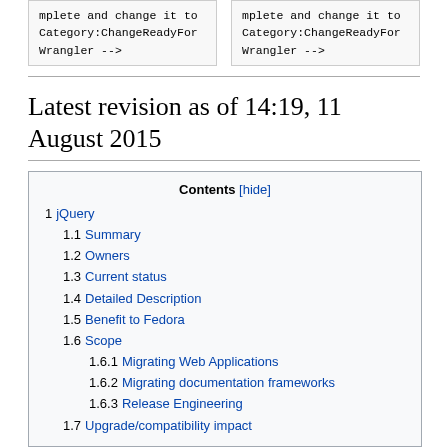mplete and change it to Category:ChangeReadyForWrangler -->
mplete and change it to Category:ChangeReadyForWrangler -->
Latest revision as of 14:19, 11 August 2015
1 jQuery
1.1 Summary
1.2 Owners
1.3 Current status
1.4 Detailed Description
1.5 Benefit to Fedora
1.6 Scope
1.6.1 Migrating Web Applications
1.6.2 Migrating documentation frameworks
1.6.3 Release Engineering
1.7 Upgrade/compatibility impact